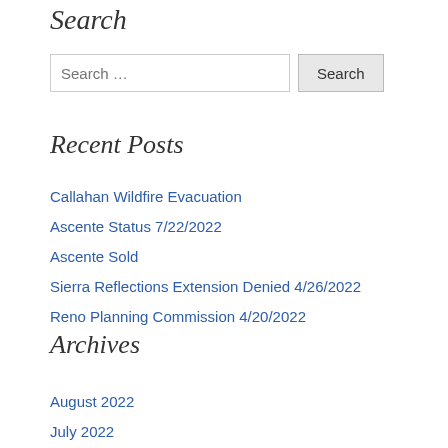Search
Search …
Recent Posts
Callahan Wildfire Evacuation
Ascente Status 7/22/2022
Ascente Sold
Sierra Reflections Extension Denied 4/26/2022
Reno Planning Commission 4/20/2022
Archives
August 2022
July 2022